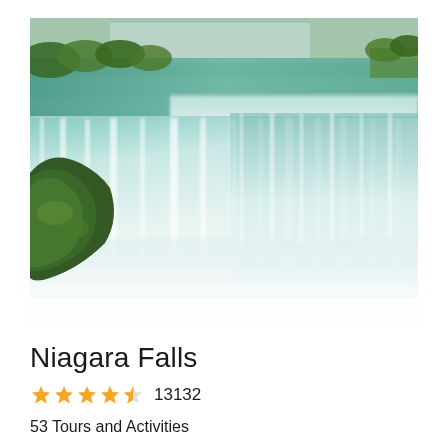[Figure (photo): Aerial/close-up view of Niagara Falls showing massive white rushing water cascading over the falls with green foliage on rocky cliffs in the foreground and blue-green water above]
Niagara Falls
★★★★½ 13132
53 Tours and Activities